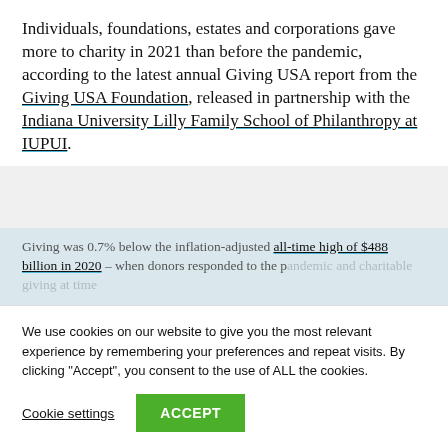Individuals, foundations, estates and corporations gave more to charity in 2021 than before the pandemic, according to the latest annual Giving USA report from the Giving USA Foundation, released in partnership with the Indiana University Lilly Family School of Philanthropy at IUPUI.
Giving was 0.7% below the inflation-adjusted all-time high of $488 billion in 2020 – when donors responded to the …
CONTINUE READING
We use cookies on our website to give you the most relevant experience by remembering your preferences and repeat visits. By clicking "Accept", you consent to the use of ALL the cookies.
Cookie settings
ACCEPT